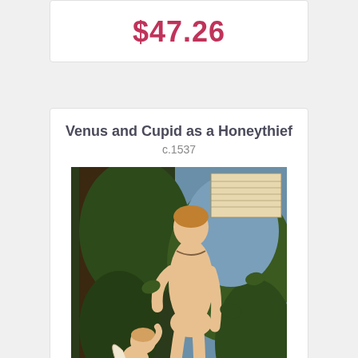$47.26
Venus and Cupid as a Honeythief
c.1537
[Figure (photo): Painting of Venus standing nude in a forest setting with Cupid as a small winged child beside her, c.1537]